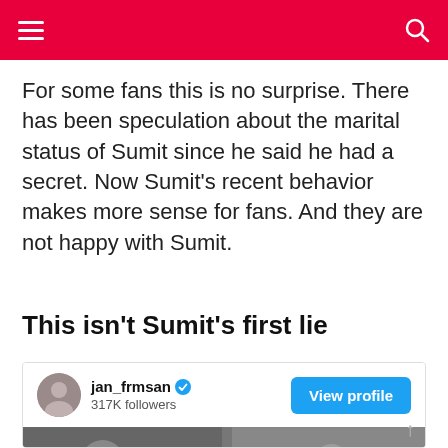Navigation header with menu and search icons
For some fans this is no surprise. There has been speculation about the marital status of Sumit since he said he had a secret. Now Sumit's recent behavior makes more sense for fans. And they are not happy with Sumit.
This isn't Sumit's first lie
[Figure (screenshot): Instagram embed showing user jan_frmsan with verified badge, 317K followers, and a View profile button, with a photo below showing people wearing sunglasses]